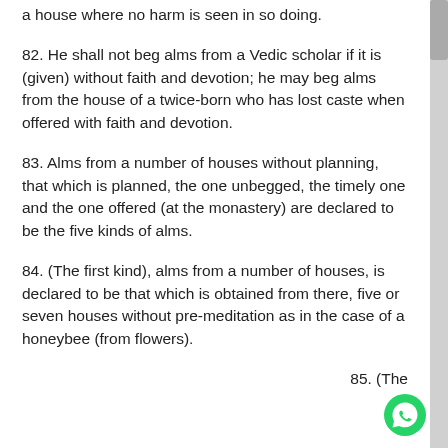a house where no harm is seen in so doing.
82. He shall not beg alms from a Vedic scholar if it is (given) without faith and devotion; he may beg alms from the house of a twice-born who has lost caste when offered with faith and devotion.
83. Alms from a number of houses without planning, that which is planned, the one unbegged, the timely one and the one offered (at the monastery) are declared to be the five kinds of alms.
84. (The first kind), alms from a number of houses, is declared to be that which is obtained from there, five or seven houses without pre-meditation as in the case of a honeybee (from flowers).
85. (The